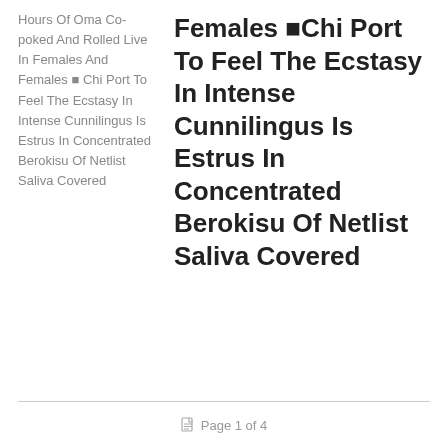Hours Of Oma Co-poked And Rolled Live In Females And Females ■ Chi Port To Feel The Ecstasy In Intense Cunnilingus Is Estrus In Concentrated Berokisu Of Netlist Saliva Covered
Females ■Chi Port To Feel The Ecstasy In Intense Cunnilingus Is Estrus In Concentrated Berokisu Of Netlist Saliva Covered
Page 1 of 4